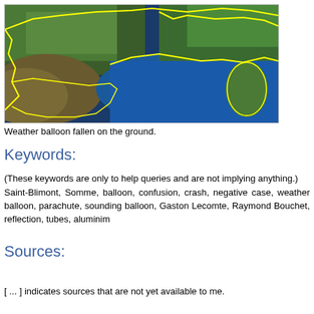[Figure (map): Satellite map showing a region with yellow boundary/route lines overlaid, depicting coastlines and terrain including a blue sea area, likely showing France/Mediterranean region with a weather balloon flight path.]
Weather balloon fallen on the ground.
Keywords:
(These keywords are only to help queries and are not implying anything.)
Saint-Blimont, Somme, balloon, confusion, crash, negative case, weather balloon, parachute, sounding balloon, Gaston Lecomte, Raymond Bouchet, reflection, tubes, aluminim
Sources:
[ ... ] indicates sources that are not yet available to me.